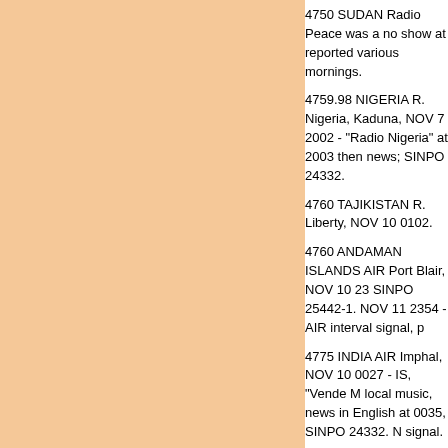4750 SUDAN Radio Peace was a no show at reported various mornings.
4759.98 NIGERIA R. Nigeria, Kaduna, NOV 7 2002 - "Radio Nigeria" at 2003 then news; SINPO 24332.
4760 TAJIKISTAN R. Liberty, NOV 10 0102.
4760 ANDAMAN ISLANDS AIR Port Blair, NOV 10 23 SINPO 25442-1. NOV 11 2354 - AIR interval signal, p
4775 INDIA AIR Imphal, NOV 10 0027 - IS, "Vende M local music, news in English at 0035, SINPO 24332. N signal.
4780 DJIBOUTI Radiodiff. Vision Djibouti, NOV 5 182 Local music, ID, news from 1831; SINPO 35343.
4800 INDIA AIR Hyderabad, NOV 11 0020 - AIR inter announcement, choral vocal, "Hyderabad" mentioned music begins at 0020:45. NOV 12 0018 - IS, "Vende M music; SINPO 33343.
4820 INDIA AIR Kolkata, NOV 12 0024 - IS, glimpses 23331 with interference from Lhasa and CODAR.
4830 JAMMU/KASHMIR AIR Jammu, NOV 11 0024 - brief talk, local music; SINPO 34343, CODAR interfer show at scheduled 0025 sign-on, but on recheck at 00 0025 - signed on at the listed time, speakers and mus